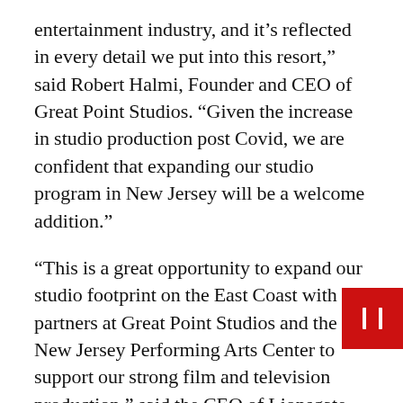entertainment industry, and it’s reflected in every detail we put into this resort,” said Robert Halmi, Founder and CEO of Great Point Studios. “Given the increase in studio production post Covid, we are confident that expanding our studio program in New Jersey will be a welcome addition.”
“This is a great opportunity to expand our studio footprint on the East Coast with our partners at Great Point Studios and the New Jersey Performing Arts Center to support our strong film and television production,” said the CEO of Lionsgate, Jon Feltheimer. “Lionsgate Studios Newark is also an important part of our commitment to diversity, equity and inclusion, allowing us to create hundreds of jobs, provide educational opportunities for local students and